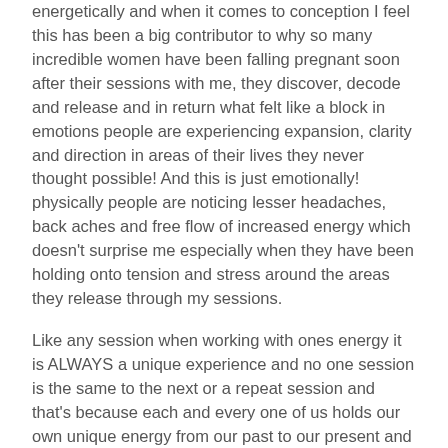energetically and when it comes to conception I feel this has been a big contributor to why so many incredible women have been falling pregnant soon after their sessions with me, they discover, decode and release and in return what felt like a block in emotions people are experiencing expansion, clarity and direction in areas of their lives they never thought possible! And this is just emotionally! physically people are noticing lesser headaches, back aches and free flow of increased energy which doesn't surprise me especially when they have been holding onto tension and stress around the areas they release through my sessions.
Like any session when working with ones energy it is ALWAYS a unique experience and no one session is the same to the next or a repeat session and that's because each and every one of us holds our own unique energy from our past to our present and from one day to the next.